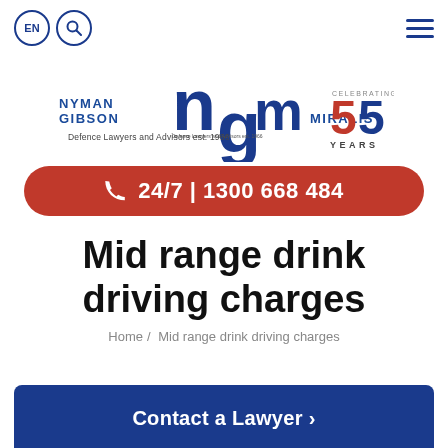EN  [search]  [hamburger menu]
[Figure (logo): Nyman Gibson Miralis law firm logo with NGM monogram and '55 Years Celebrating' badge. Text reads: NYMAN GIBSON MIRALIS, Defence Lawyers and Advisors est. 1966]
24/7 | 1300 668 484
Mid range drink driving charges
Home / Mid range drink driving charges
Contact a Lawyer >